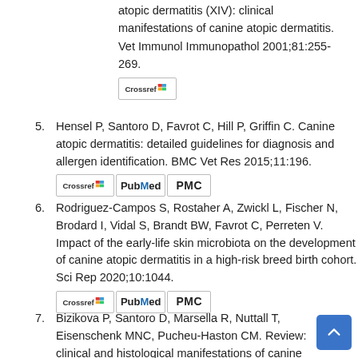atopic dermatitis (XIV): clinical manifestations of canine atopic dermatitis. Vet Immunol Immunopathol 2001;81:255-269.
[Figure (other): Crossref badge/link button]
5. Hensel P, Santoro D, Favrot C, Hill P, Griffin C. Canine atopic dermatitis: detailed guidelines for diagnosis and allergen identification. BMC Vet Res 2015;11:196.
[Figure (other): Crossref, PubMed, PMC badge/link buttons]
6. Rodriguez-Campos S, Rostaher A, Zwickl L, Fischer N, Brodard I, Vidal S, Brandt BW, Favrot C, Perreten V. Impact of the early-life skin microbiota on the development of canine atopic dermatitis in a high-risk breed birth cohort. Sci Rep 2020;10:1044.
[Figure (other): Crossref, PubMed, PMC badge/link buttons]
7. Bizikova P, Santoro D, Marsella R, Nuttall T, Eisenschenk MNC, Pucheu-Haston CM. Review: clinical and histological manifestations of canine atopic dermatitis. Vet Dermatol 2015;26:79-e24.